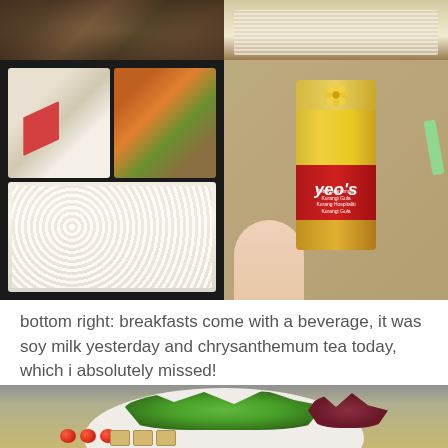[Figure (photo): Collage of four food photos: top-left shows a dark mixed dish, top-right shows white rice, bottom-left shows a black bento box with stir-fried vegetables and white rice, bottom-right shows a person holding a Yeo's Teh Krisantimum (chrysanthemum tea) carton on a desk with a green eraser visible]
bottom right: breakfasts come with a beverage, it was soy milk yesterday and chrysanthemum tea today, which i absolutely missed!
[Figure (photo): Partial view of a salad bowl from above containing green lettuce, red/purple lettuce, cherry tomatoes, and tofu pieces, shot on a desk surface]